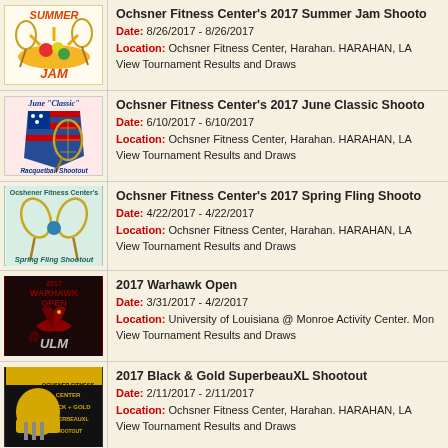Ochsner Fitness Center's 2017 Summer Jam Shootout | Date: 8/26/2017 - 8/26/2017 | Location: Ochsner Fitness Center, Harahan. HARAHAN, LA | View Tournament Results and Draws
Ochsner Fitness Center's 2017 June Classic Shootout | Date: 6/10/2017 - 6/10/2017 | Location: Ochsner Fitness Center, Harahan. HARAHAN, LA | View Tournament Results and Draws
Ochsner Fitness Center's 2017 Spring Fling Shootout | Date: 4/22/2017 - 4/22/2017 | Location: Ochsner Fitness Center, Harahan. HARAHAN, LA | View Tournament Results and Draws
2017 Warhawk Open | Date: 3/31/2017 - 4/2/2017 | Location: University of Louisiana @ Monroe Activity Center. Monroe, LA | View Tournament Results and Draws
2017 Black & Gold SuperbeauXL Shootout | Date: 2/11/2017 - 2/11/2017 | Location: Ochsner Fitness Center, Harahan. HARAHAN, LA | View Tournament Results and Draws